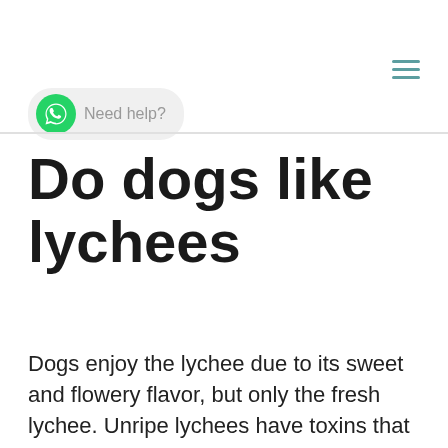Need help?
Do dogs like lychees
Dogs enjoy the lychee due to its sweet and flowery flavor, but only the fresh lychee. Unripe lychees have toxins that may lead to very low blood sugar. According to veterinarians, it can cause encephalopathy, changes